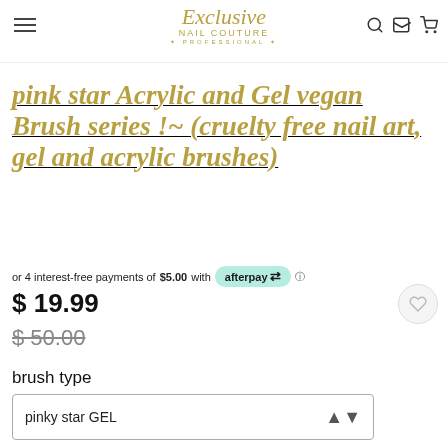Exclusive Nail Couture * PROFESSIONAL *
pink star Acrylic and Gel vegan Brush series !~ (cruelty free nail art, gel and acrylic brushes)
or 4 interest-free payments of $5.00 with afterpay
$ 19.99
$ 50.00
brush type
pinky star GEL